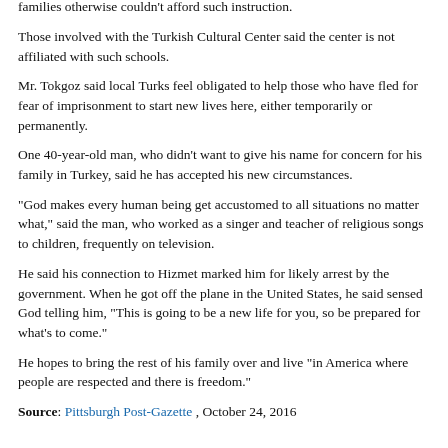Philadelphia Inquirer and CBS's '60 Minutes' for practices related to finances, employment, education and immigration. Supporters say the schools bring strong science programs and other offerings to children whose families otherwise couldn't afford such instruction.
Those involved with the Turkish Cultural Center said the center is not affiliated with such schools.
Mr. Tokgoz said local Turks feel obligated to help those who have fled for fear of imprisonment to start new lives here, either temporarily or permanently.
One 40-year-old man, who didn't want to give his name for concern for his family in Turkey, said he has accepted his new circumstances.
“God makes every human being get accustomed to all situations no matter what,” said the man, who worked as a singer and teacher of religious songs to children, frequently on television.
He said his connection to Hizmet marked him for likely arrest by the government. When he got off the plane in the United States, he said sensed God telling him, “This is going to be a new life for you, so be prepared for what’s to come.”
He hopes to bring the rest of his family over and live “in America where people are respected and there is freedom.”
Source: Pittsburgh Post-Gazette , October 24, 2016